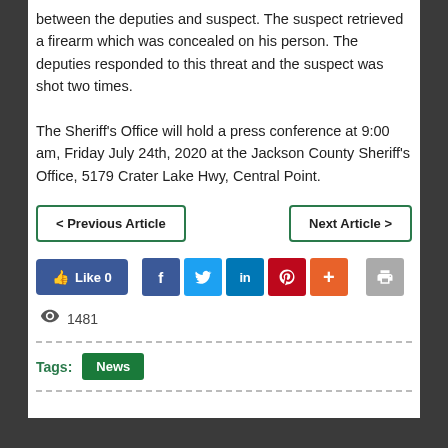between the deputies and suspect. The suspect retrieved a firearm which was concealed on his person. The deputies responded to this threat and the suspect was shot two times.

The Sheriff's Office will hold a press conference at 9:00 am, Friday July 24th, 2020 at the Jackson County Sheriff's Office, 5179 Crater Lake Hwy, Central Point.
< Previous Article | Next Article >
[Figure (other): Social sharing buttons: Like 0 (Facebook like), Facebook, Twitter, LinkedIn, Pinterest, Plus (+), Print. View count: 1481]
1481 views
Tags: News